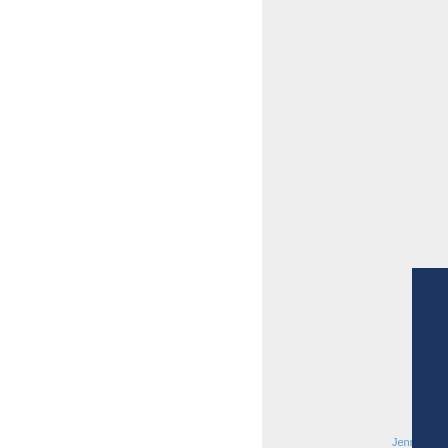View
Entry
1900
Jennie Farmer w Joel Far
Click Here to Chat with a Librarian